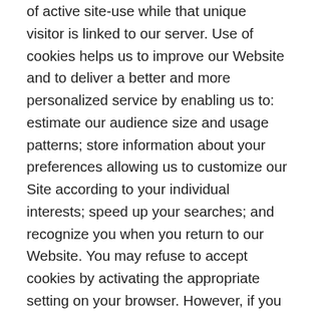of active site-use while that unique visitor is linked to our server. Use of cookies helps us to improve our Website and to deliver a better and more personalized service by enabling us to: estimate our audience size and usage patterns; store information about your preferences allowing us to customize our Site according to your individual interests; speed up your searches; and recognize you when you return to our Website. You may refuse to accept cookies by activating the appropriate setting on your browser. However, if you activate such a setting, you may be unable to access certain parts of our Website. Unless you have adjusted your browser setting so that it will refuse cookies, our system will issue cookies when you direct your browser to our Website. The cookie expires and is deleted from the visitor's computer as soon as they